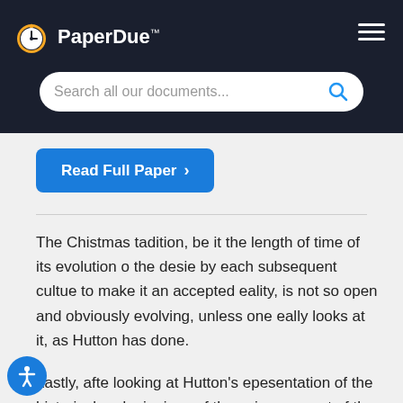PaperDue™
Search all our documents...
Read Full Paper ›
The Chistmas tadition, be it the length of time of its evolution o the desie by each subsequent cultue to make it an accepted eality, is not so open and obviously evolving, unless one eally looks at it, as Hutton has done.
Lastly, afte looking at Hutton's epesentation of the historical undepinnings of the vaious aspect of the